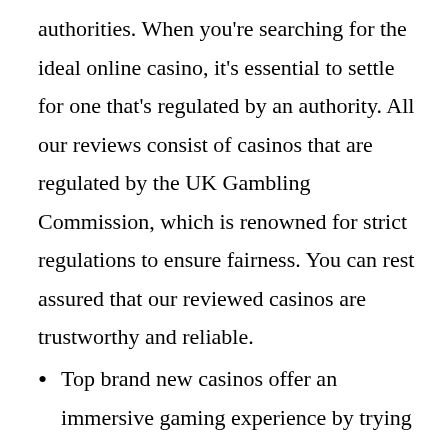authorities. When you're searching for the ideal online casino, it's essential to settle for one that's regulated by an authority. All our reviews consist of casinos that are regulated by the UK Gambling Commission, which is renowned for strict regulations to ensure fairness. You can rest assured that our reviewed casinos are trustworthy and reliable.
Top brand new casinos offer an immersive gaming experience by trying to replicate a